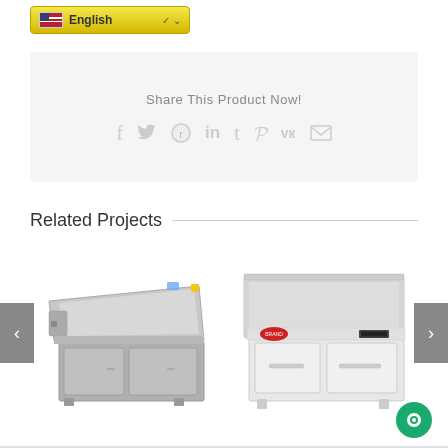[Figure (screenshot): Language selector dropdown showing English with US flag and yellow background]
Share This Product Now!
[Figure (infographic): Social share icons: Facebook, Twitter, Reddit, LinkedIn, Tumblr, Pinterest, VK, Email]
Related Projects
[Figure (photo): Commercial kitchen griddle/plancha on cabinet stand, stainless steel, product image]
[Figure (photo): Commercial induction griddle with cabinet base, white/silver, with digital control panel and handles]